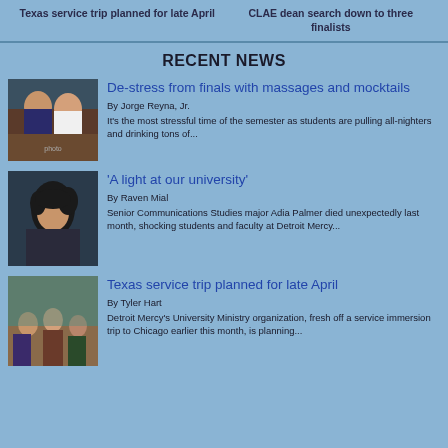Texas service trip planned for late April | CLAE dean search down to three finalists
RECENT NEWS
[Figure (photo): Two students wearing masks sitting at a table]
De-stress from finals with massages and mocktails
By Jorge Reyna, Jr.
It's the most stressful time of the semester as students are pulling all-nighters and drinking tons of...
[Figure (photo): Portrait of a person with curly hair]
'A light at our university'
By Raven Mial
Senior Communications Studies major Adia Palmer died unexpectedly last month, shocking students and faculty at Detroit Mercy...
[Figure (photo): Group of people at an event or gathering]
Texas service trip planned for late April
By Tyler Hart
Detroit Mercy's University Ministry organization, fresh off a service immersion trip to Chicago earlier this month, is planning...